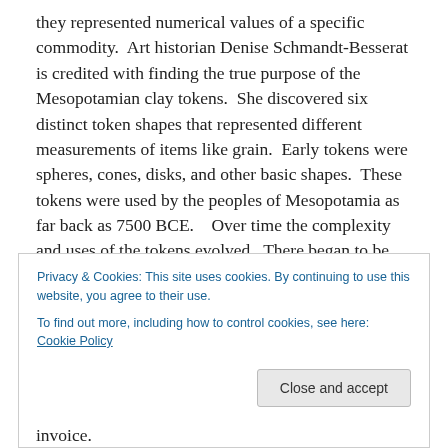they represented numerical values of a specific commodity.  Art historian Denise Schmandt-Besserat is credited with finding the true purpose of the Mesopotamian clay tokens.  She discovered six distinct token shapes that represented different measurements of items like grain.  Early tokens were spheres, cones, disks, and other basic shapes.  These tokens were used by the peoples of Mesopotamia as far back as 7500 BCE.   Over time the complexity and uses of the tokens evolved.  There began to be writing on the tokens, possibly markings to denote an association to an accurate counting
Privacy & Cookies: This site uses cookies. By continuing to use this website, you agree to their use.
To find out more, including how to control cookies, see here: Cookie Policy
invoice.